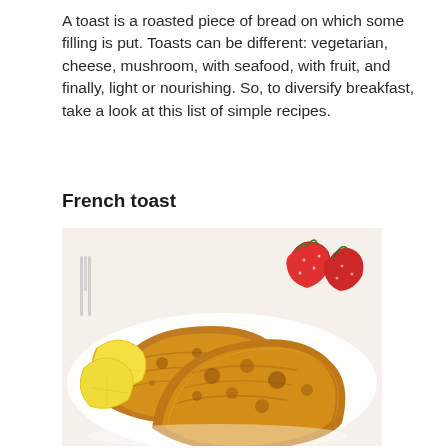A toast is a roasted piece of bread on which some filling is put. Toasts can be different: vegetarian, cheese, mushroom, with seafood, with fruit, and finally, light or nourishing. So, to diversify breakfast, take a look at this list of simple recipes.
French toast
[Figure (photo): A photograph of French toast slices on a white plate, garnished with lemon wedges and strawberries.]